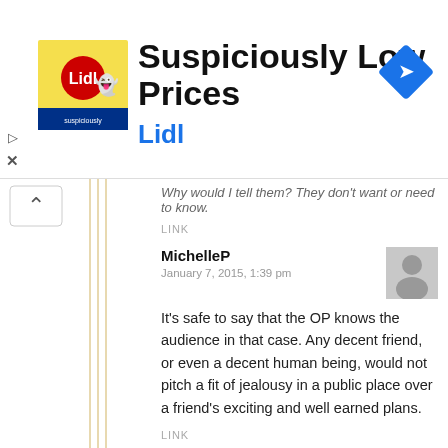[Figure (other): Lidl advertisement banner with logo and 'Suspiciously Low Prices' text]
Why would I tell them? They don't want or need to know.
LINK
MichelleP
January 7, 2015, 1:39 pm
It’s safe to say that the OP knows the audience in that case. Any decent friend, or even a decent human being, would not pitch a fit of jealousy in a public place over a friend’s exciting and well earned plans.
LINK
Tracy W
January 8, 2015, 10:50 am